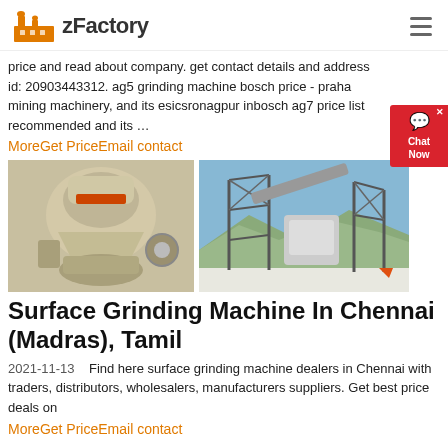zFactory
price and read about company. get contact details and address id: 20903443312. ag5 grinding machine bosch price - praha mining machinery, and its esicsronagpur inbosch ag7 price list recommended and its ...
MoreGet PriceEmail contact
[Figure (photo): Two industrial grinding/crushing machines: left shows a cone crusher (beige/cream colored industrial equipment), right shows a large outdoor mining/aggregate processing plant with conveyor belts and steel structure against a blue sky.]
Surface Grinding Machine In Chennai (Madras), Tamil
2021-11-13   Find here surface grinding machine dealers in Chennai with traders, distributors, wholesalers, manufacturers suppliers. Get best price deals on
MoreGet PriceEmail contact